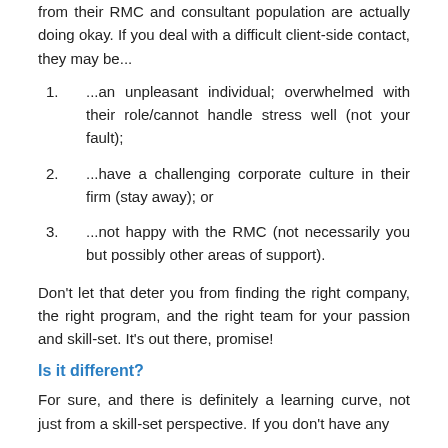from their RMC and consultant population are actually doing okay. If you deal with a difficult client-side contact, they may be...
...an unpleasant individual; overwhelmed with their role/cannot handle stress well (not your fault);
...have a challenging corporate culture in their firm (stay away); or
...not happy with the RMC (not necessarily you but possibly other areas of support).
Don’t let that deter you from finding the right company, the right program, and the right team for your passion and skill-set. It’s out there, promise!
Is it different?
For sure, and there is definitely a learning curve, not just from a skill-set perspective. If you don’t have any